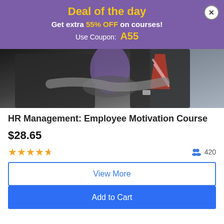Deal of the day
Get extra 55% OFF on courses!
Use Coupon: A55
[Figure (photo): Two people shaking hands in a business setting, with a woman in the background]
HR Management: Employee Motivation Course
$28.65
4.5 stars rating, 420 enrolled
View More
Add to Cart